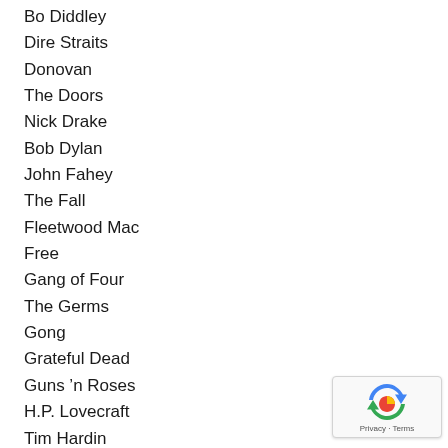Bo Diddley
Dire Straits
Donovan
The Doors
Nick Drake
Bob Dylan
John Fahey
The Fall
Fleetwood Mac
Free
Gang of Four
The Germs
Gong
Grateful Dead
Guns ’n Roses
H.P. Lovecraft
Tim Hardin